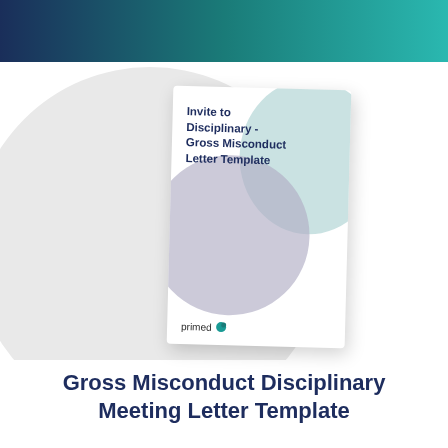[Figure (illustration): A marketing/product page showing a document template cover card titled 'Invite to Disciplinary - Gross Misconduct Letter Template' with teal and lavender circle design elements, displayed on a grey circle background with a teal-to-navy gradient top banner. The document card shows the 'primed' brand logo at the bottom.]
Gross Misconduct Disciplinary Meeting Letter Template